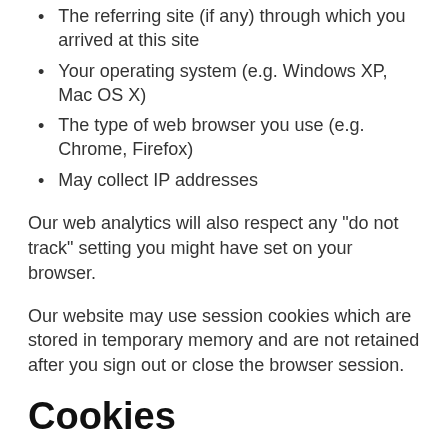The referring site (if any) through which you arrived at this site
Your operating system (e.g. Windows XP, Mac OS X)
The type of web browser you use (e.g. Chrome, Firefox)
May collect IP addresses
Our web analytics will also respect any "do not track" setting you might have set on your browser.
Our website may use session cookies which are stored in temporary memory and are not retained after you sign out or close the browser session.
Cookies